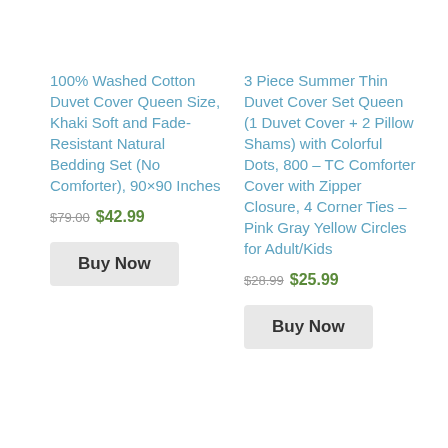100% Washed Cotton Duvet Cover Queen Size, Khaki Soft and Fade-Resistant Natural Bedding Set (No Comforter), 90×90 Inches
$79.00 $42.99
Buy Now
3 Piece Summer Thin Duvet Cover Set Queen (1 Duvet Cover + 2 Pillow Shams) with Colorful Dots, 800 – TC Comforter Cover with Zipper Closure, 4 Corner Ties – Pink Gray Yellow Circles for Adult/Kids
$28.99 $25.99
Buy Now